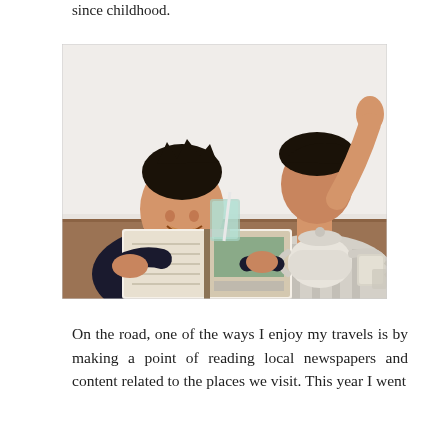since childhood.
[Figure (photo): Two young Asian men sitting at a wooden table looking at an open book/magazine together. One man on the left wears a dark sweater and smiles, holding the book. The other on the right wears a striped shirt and scratches his head. On the table there is a drink with a straw, a white teapot, and ceramic mugs.]
On the road, one of the ways I enjoy my travels is by making a point of reading local newspapers and content related to the places we visit. This year I went